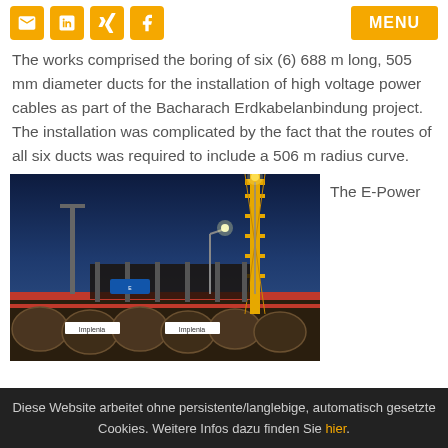Social share icons and MENU button
The works comprised the boring of six (6) 688 m long, 505 mm diameter ducts for the installation of high voltage power cables as part of the Bacharach Erdkabelanbindung project. The installation was complicated by the fact that the routes of all six ducts was required to include a 506 m radius curve.
[Figure (photo): Night-time construction site photograph showing a large yellow crane and drilling/boring equipment with Implenia branding, flood-lit against a dark blue sky. Circular steel caissons visible in the foreground.]
The E-Power
Diese Website arbeitet ohne persistente/langlebige, automatisch gesetzte Cookies. Weitere Infos dazu finden Sie hier.